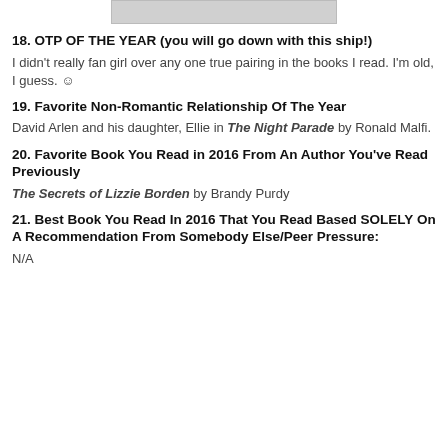[Figure (photo): Partial book cover image cropped at top]
18. OTP OF THE YEAR (you will go down with this ship!)
I didn't really fan girl over any one true pairing in the books I read. I'm old, I guess. ☺
19. Favorite Non-Romantic Relationship Of The Year
David Arlen and his daughter, Ellie in The Night Parade by Ronald Malfi.
20. Favorite Book You Read in 2016 From An Author You've Read Previously
The Secrets of Lizzie Borden by Brandy Purdy
21. Best Book You Read In 2016 That You Read Based SOLELY On A Recommendation From Somebody Else/Peer Pressure:
N/A